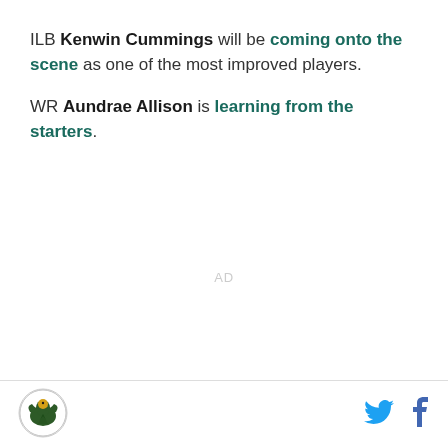ILB Kenwin Cummings will be coming onto the scene as one of the most improved players.
WR Aundrae Allison is learning from the starters.
AD
[Figure (logo): Sports team logo — circular emblem with eagle/bird illustration]